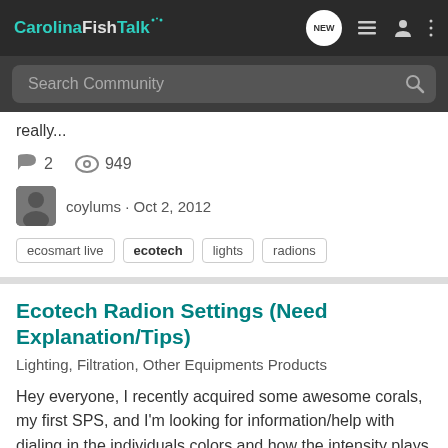CarolinaFishTalk
really...
2 comments · 949 views
coylums · Oct 2, 2012
ecosmart live
ecotech
lights
radions
Ecotech Radion Settings (Need Explanation/Tips)
Lighting, Filtration, Other Equipments Products
Hey everyone, I recently acquired some awesome corals, my first SPS, and I'm looking for information/help with dialing in the individuals colors and how the intensity plays into the colors. 0% intensity turns all lights off and 100% maxes them out but I suppose what's confusing is how the...
2 comments · 1K views